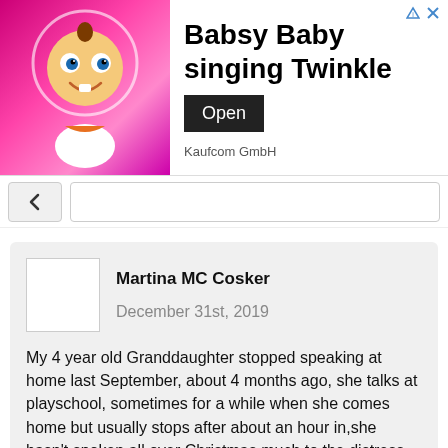[Figure (screenshot): Ad banner for 'Babsy Baby singing Twinkle' by Kaufcom GmbH with animated baby character on pink background, Open button, and ad corner icons]
[Figure (screenshot): Search bar area with back chevron button and text input field]
Martina MC Cosker   December 31st, 2019

My 4 year old Granddaughter stopped speaking at home last September, about 4 months ago, she talks at playschool, sometimes for a while when she comes home but usually stops after about an hour in,she hasn't spoken all over Christmas much to the distress of her parents, it's a very unusual situation as most select mutism happens outside of the home, where a child may be anxious or nervous, the only trigger we can think of is her sister